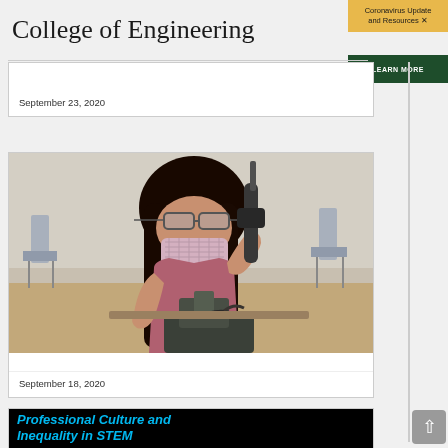College of Engineering
Coronavirus Update and Resources ×
LEARN MORE
September 23, 2020
[Figure (photo): A female engineering student wearing a face mask and safety goggles holds a tool while working on equipment in a lab or classroom setting. Two chairs are visible in the background.]
September 18, 2020
Professional Culture and Inequality in STEM